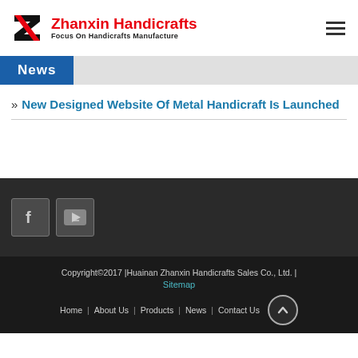Zhanxin Handicrafts – Focus On Handicrafts Manufacture
News
» New Designed Website Of Metal Handicraft Is Launched
[Figure (logo): Facebook and YouTube social media icons]
Copyright©2017 |Huainan Zhanxin Handicrafts Sales Co., Ltd. | Sitemap | Home | About Us | Products | News | Contact Us